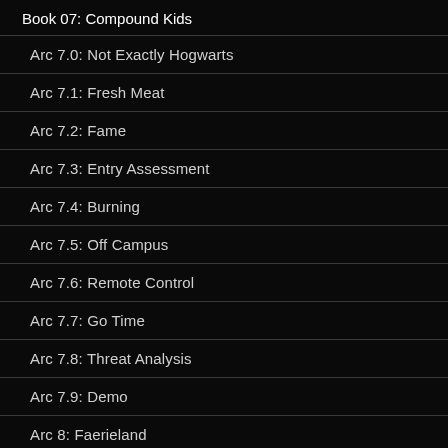Book 07: Compound Kids
Arc 7.0: Not Exactly Hogwarts
Arc 7.1: Fresh Meat
Arc 7.2: Fame
Arc 7.3: Entry Assessment
Arc 7.4: Burning
Arc 7.5: Off Campus
Arc 7.6: Remote Control
Arc 7.7: Go Time
Arc 7.8: Threat Analysis
Arc 7.9: Demo
Arc 8: Faerieland
Arc 8.1: Bloodmaiden